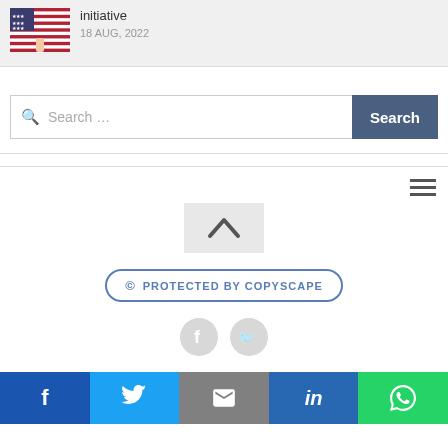[Figure (photo): Thumbnail of a hand holding an American flag]
initiative
18 AUG, 2022
Search …
Search
[Figure (other): Back to top chevron button]
© PROTECTED BY COPYSCAPE
[Figure (other): Social media share icons: Facebook and Twitter (faded)]
f  Twitter  Email  in  WhatsApp